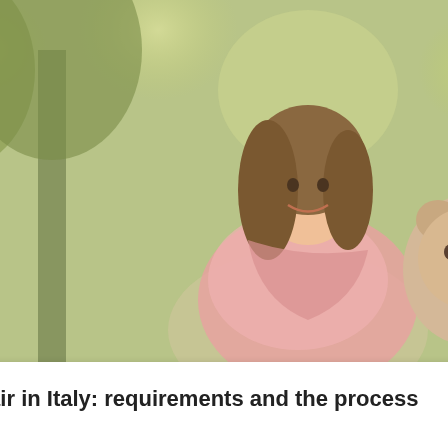Au Pair in Italy: visa requirements for the participants
Read More »
[Figure (photo): Young woman smiling outdoors holding a toddler in a bear costume, trees in background with bokeh effect]
Au Pair in Italy: requirements and the process
Read More »